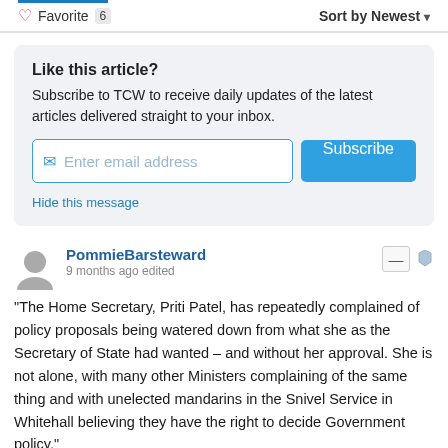Favorite 6   Sort by Newest
Like this article?
Subscribe to TCW to receive daily updates of the latest articles delivered straight to your inbox.
Enter email address   Subscribe
Hide this message
PommieBarsteward
9 months ago edited
"The Home Secretary, Priti Patel, has repeatedly complained of policy proposals being watered down from what she as the Secretary of State had wanted – and without her approval. She is not alone, with many other Ministers complaining of the same thing and with unelected mandarins in the Snivel Service in Whitehall believing they have the right to decide Government policy."
Simple solution. Demote or sack any civil servant who puts